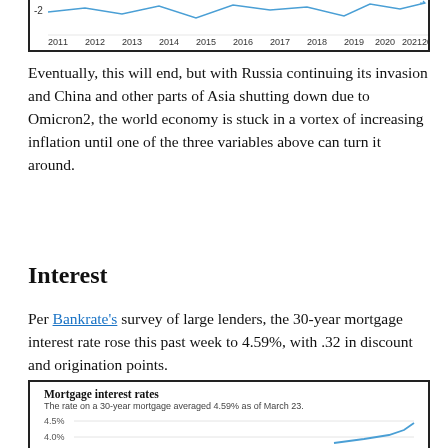[Figure (continuous-plot): Bottom portion of a line chart showing years 2011–2022 on x-axis with a -2 label visible on the y-axis. Blue line chart showing economic data trend.]
Eventually, this will end, but with Russia continuing its invasion and China and other parts of Asia shutting down due to Omicron2, the world economy is stuck in a vortex of increasing inflation until one of the three variables above can turn it around.
Interest
Per Bankrate's survey of large lenders, the 30-year mortgage interest rate rose this past week to 4.59%, with .32 in discount and origination points.
[Figure (continuous-plot): Top portion of a line chart titled 'Mortgage interest rates'. Subtitle: 'The rate on a 30-year mortgage averaged 4.59% as of March 23.' Y-axis shows 4.0% and 4.5% gridlines. Blue rising line visible at bottom right.]